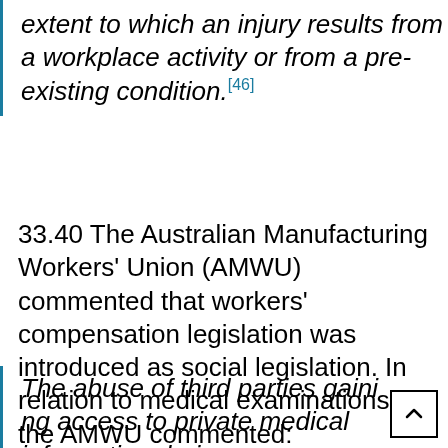extent to which an injury results from a workplace activity or from a pre-existing condition.[46]
33.40 The Australian Manufacturing Workers' Union (AMWU) commented that workers' compensation legislation was introduced as social legislation. In relation to medical examinations, the AMWU commented:
The abuse of third parties gaining access to private medical information during a...